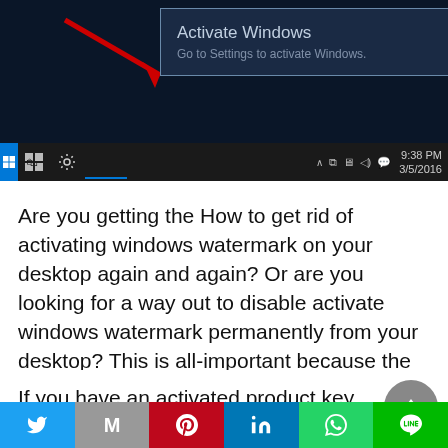[Figure (screenshot): Windows 10 desktop screenshot showing 'Activate Windows' notification popup in taskbar area with red arrow pointing to settings icon, and taskbar with system tray showing 9:38 PM 3/5/2016]
Are you getting the How to get rid of activating windows watermark on your desktop again and again? Or are you looking for a way out to disable activate windows watermark permanently from your desktop? This is all-important because the license of your windows has finished.
If you have an activated product key, you can turn it on right away. Or you can also purchase a serial
[Figure (infographic): Social sharing bar at the bottom with Twitter, Gmail, Pinterest, LinkedIn, WhatsApp, and LINE buttons]